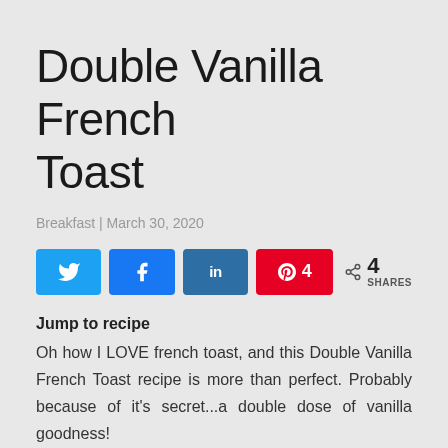Double Vanilla French Toast
Breakfast | March 30, 2020
[Figure (infographic): Social sharing buttons: Twitter (blue), Facebook (blue), LinkedIn (dark blue), Pinterest (red) with count 4, and share icon showing 4 SHARES]
Jump to recipe
Oh how I LOVE french toast, and this Double Vanilla French Toast recipe is more than perfect. Probably because of it's secret...a double dose of vanilla goodness!